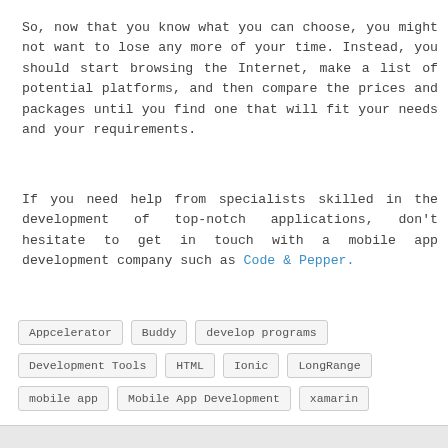So, now that you know what you can choose, you might not want to lose any more of your time. Instead, you should start browsing the Internet, make a list of potential platforms, and then compare the prices and packages until you find one that will fit your needs and your requirements.
If you need help from specialists skilled in the development of top-notch applications, don't hesitate to get in touch with a mobile app development company such as Code & Pepper.
Appcelerator
Buddy
develop programs
Development Tools
HTML
Ionic
LongRange
mobile app
Mobile App Development
xamarin